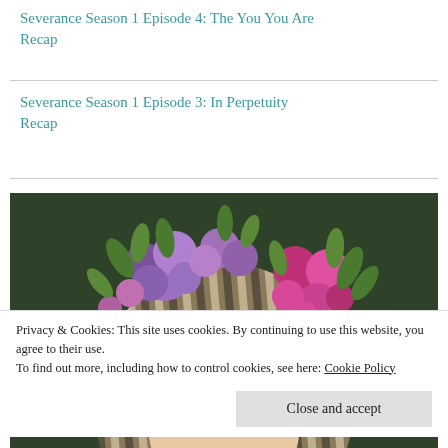Severance Season 1 Episode 4: The You You Are Recap
Severance Season 1 Episode 3: In Perpetuity Recap
[Figure (illustration): Illustrated portrait of a person with striped hair adorned with purple and pink flowers and green leaves on a dark green background.]
Privacy & Cookies: This site uses cookies. By continuing to use this website, you agree to their use.
To find out more, including how to control cookies, see here: Cookie Policy
Close and accept